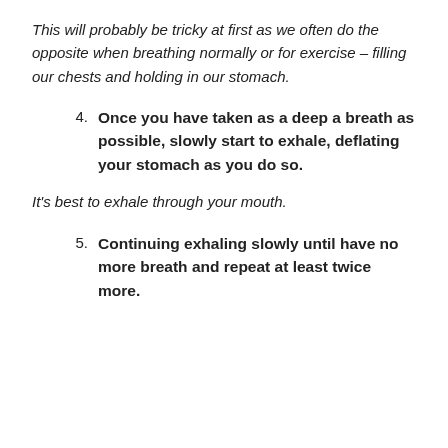This will probably be tricky at first as we often do the opposite when breathing normally or for exercise – filling our chests and holding in our stomach.
4. Once you have taken as a deep a breath as possible, slowly start to exhale, deflating your stomach as you do so.
It's best to exhale through your mouth.
5. Continuing exhaling slowly until have no more breath and repeat at least twice more.